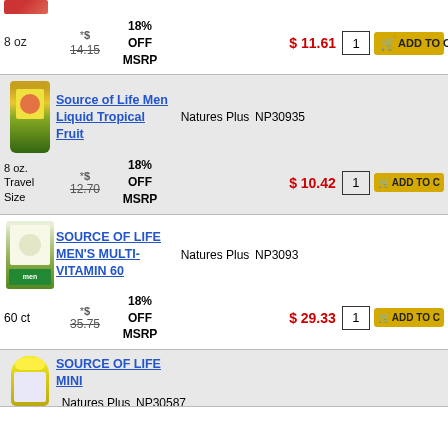[Figure (photo): Partially visible product image at top of page (cropped)]
8 oz   *$ 14.15   18% OFF MSRP   $ 11.61   1   ADD TO CART
[Figure (photo): Source of Life Men Liquid Tropical Fruit bottle product image]
Source of Life Men Liquid Tropical Fruit
Natures Plus   NP30935
8 oz. Travel Size   *$ 12.70   18% OFF MSRP   $ 10.42   1   ADD TO CART
[Figure (photo): Source of Life Men's Multi-Vitamin 60 box product image]
SOURCE OF LIFE MEN'S MULTI-VITAMIN 60
Natures Plus   NP3093
60 ct   *$ 35.75   18% OFF MSRP   $ 29.33   1   ADD TO CART
[Figure (photo): Source of Life Mini bottle product image (partially visible)]
SOURCE OF LIFE MINI
Natures Plus   NP30587